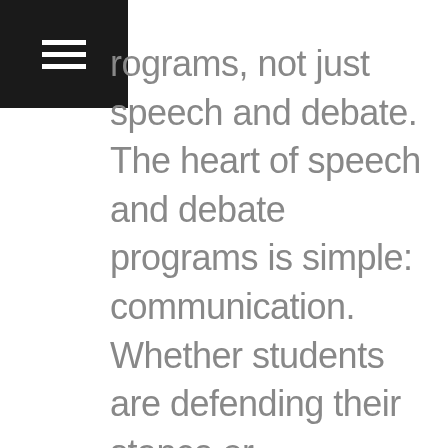[hamburger menu icon]
rograms, not just speech and debate. The heart of speech and debate programs is simple: communication. Whether students are defending their stance or introducing a new point of view, they are communicating strategically, creatively and clearly, and that's the message their logo needed to get across.

Their new logo shows this